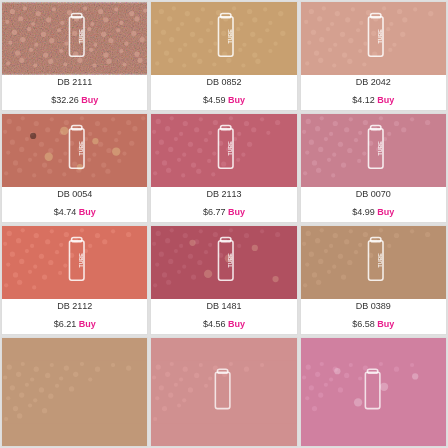[Figure (photo): Rose gold seed beads product image - DB 2111]
DB 2111
$32.26 Buy
[Figure (photo): Gold tan seed beads product image - DB 0852]
DB 0852
$4.59 Buy
[Figure (photo): Dusty pink seed beads product image - DB 2042]
DB 2042
$4.12 Buy
[Figure (photo): Copper seed beads product image - DB 0054]
DB 0054
$4.74 Buy
[Figure (photo): Dark pink seed beads product image - DB 2113]
DB 2113
$6.77 Buy
[Figure (photo): Medium pink seed beads product image - DB 0070]
DB 0070
$4.99 Buy
[Figure (photo): Salmon seed beads product image - DB 2112]
DB 2112
$6.21 Buy
[Figure (photo): Ruby glitter seed beads product image - DB 1481]
DB 1481
$4.56 Buy
[Figure (photo): Tan brown seed beads product image - DB 0389]
DB 0389
$6.58 Buy
[Figure (photo): Tan seed beads product image - partial row]
[Figure (photo): Medium pink seed beads product image - partial row]
[Figure (photo): Pink glitter seed beads product image - partial row]